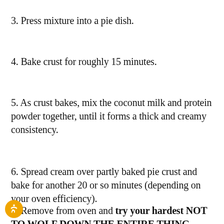3. Press mixture into a pie dish.
4. Bake crust for roughly 15 minutes.
5. As crust bakes, mix the coconut milk and protein powder together, until it forms a thick and creamy consistency.
6. Spread cream over partly baked pie crust and bake for another 20 or so minutes (depending on your oven efficiency).
7. Remove from oven and try your hardest NOT TO WOLF DOWN THE ENTIRE THING